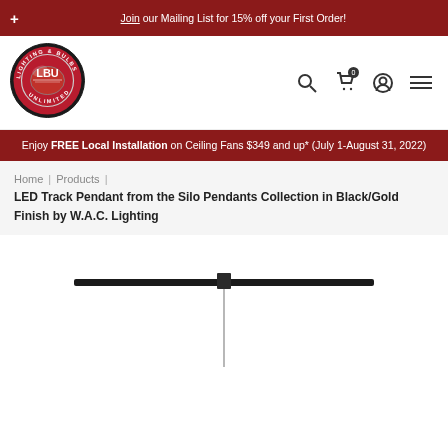Join our Mailing List for 15% off your First Order!
[Figure (logo): Lighting & Bulbs Unlimited (LBU) circular red logo with LBU initials in center]
Enjoy FREE Local Installation on Ceiling Fans $349 and up* (July 1-August 31, 2022)
Home | Products | LED Track Pendant from the Silo Pendants Collection in Black/Gold Finish by W.A.C. Lighting
[Figure (photo): LED Track Pendant product image showing a long black horizontal bar with a pendant wire hanging down, against white background]